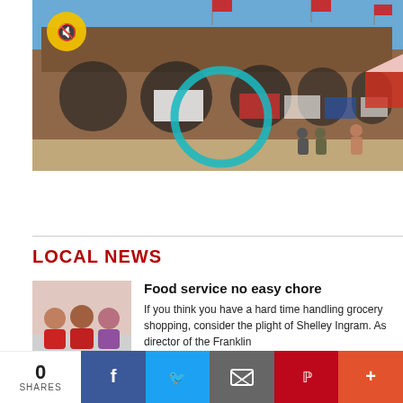[Figure (photo): Exterior of a large brick stadium/arena building with arched windows, banners and flags, people in front, blue sky. A teal circular UI element (mute/unmute icon) overlaid.]
LOCAL NEWS
[Figure (photo): Three people in red/pink shirts seated together indoors.]
Food service no easy chore
If you think you have a hard time handling grocery shopping, consider the plight of Shelley Ingram. As director of the Franklin
0 SHARES | Facebook | Twitter | Email | Pinterest | More